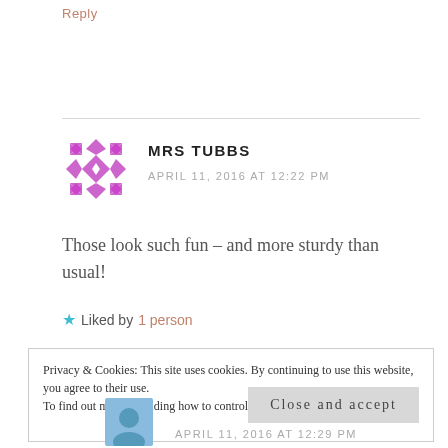Reply
[Figure (illustration): Purple geometric/diamond pattern avatar for Mrs Tubbs]
MRS TUBBS
APRIL 11, 2016 AT 12:22 PM
Those look such fun – and more sturdy than usual!
★ Liked by 1 person
Privacy & Cookies: This site uses cookies. By continuing to use this website, you agree to their use.
To find out more, including how to control cookies, see here: Cookie Policy
Close and accept
APRIL 11, 2016 AT 12:29 PM